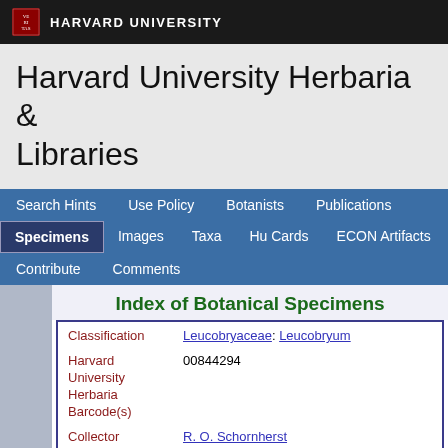HARVARD UNIVERSITY
Harvard University Herbaria & Libraries
Search Hints  Use Policy  Botanists  Publications  Specimens  Images  Taxa  Hu Cards  ECON Artifacts  Contribute  Comments
Index of Botanical Specimens
| Field | Value |
| --- | --- |
| Classification | Leucobryaceae: Leucobryum |
| Harvard University Herbaria Barcode(s) | 00844294 |
| Collector | R. O. Schornherst |
| Collector number | 1192 |
| Country | United States of America |
| State | Florida |